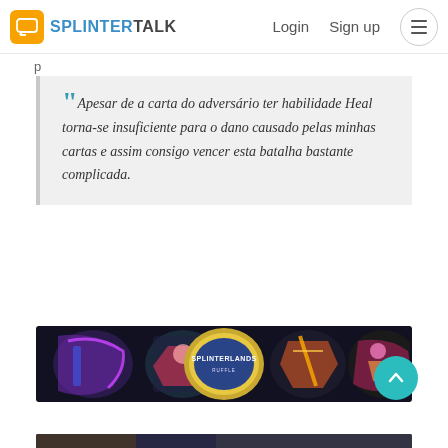SPLINTERTALK — Login  Sign up
p
““Apesar de a carta do adversário ter habilidade Heal torna-se insuficiente para o dano causado pelas minhas cartas e assim consigo vencer esta batalha bastante complicada.
[Figure (screenshot): Splinterlands banner image showing fantasy game characters and the Splinterlands logo on a dark background]
[Figure (other): Scroll-to-top button, teal circular arrow icon]
[Figure (screenshot): Partially visible image at the bottom of the page]